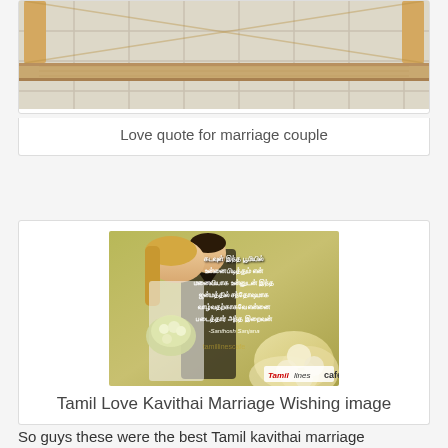[Figure (photo): Wooden shelf/bookcase photo, partially cropped at top]
Love quote for marriage couple
[Figure (photo): Tamil Love Kavithai Marriage Wishing image — couple (bride and groom) with Tamil text quote overlay and flowers, watermark tamillinescafe]
Tamil Love Kavithai Marriage Wishing image
So guys these were the best Tamil kavithai marriage